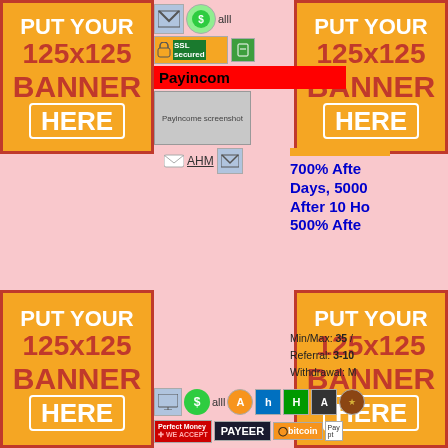[Figure (infographic): Top-left 125x125 banner placeholder: orange/red box saying PUT YOUR 125x125 BANNER HERE]
[Figure (screenshot): Center top area with Payincome listing: icons row, SSL badge, red title bar 'Payincom', screenshot image, AHM link]
[Figure (infographic): Top-right 125x125 banner placeholder]
700% After Days, 5000 After 10 H 500% Afte
Min/Max: 35 / Referral: 3-10 Withdrawal: M
[Figure (infographic): Second listing: payment icons row (alll, A, h, H, A*), Perfect Money, PAYEER, bitcoin badges, Rombus-g red title bar, Rombus-group.com screenshot, AHM link]
[Figure (infographic): Bottom-left 125x125 banner placeholder]
[Figure (infographic): Bottom-right 125x125 banner placeholder]